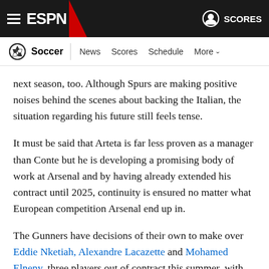ESPN - Soccer | News Scores Schedule More
next season, too. Although Spurs are making positive noises behind the scenes about backing the Italian, the situation regarding his future still feels tense.
It must be said that Arteta is far less proven as a manager than Conte but he is developing a promising body of work at Arsenal and by having already extended his contract until 2025, continuity is ensured no matter what European competition Arsenal end up in.
The Gunners have decisions of their own to make over Eddie Nketiah, Alexandre Lacazette and Mohamed Elneny, three players out of contract this summer, with Arteta keen to finalise plans once the precise requirements for next season are known. They will need squad depth however, having already